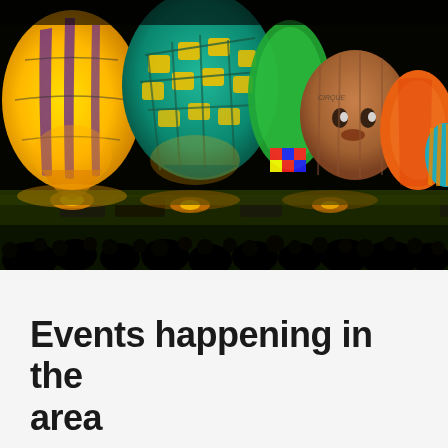[Figure (photo): Night-time hot air balloon festival showing multiple colorful illuminated balloons on a dark field. From left to right: a yellow and purple balloon, a teal and yellow checkered balloon, a green balloon, a novelty face-shaped balloon (brown/character), an orange balloon, and a teal/orange striped balloon on the far right. Crowds of spectators silhouetted in the foreground, vehicles on the grass, and glowing burner flames lighting each balloon from below against a black night sky.]
Events happening in the area